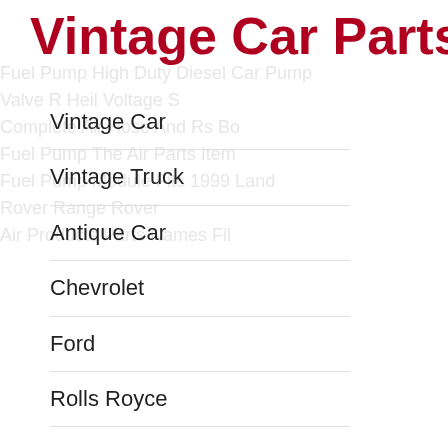Vintage Car Parts
Vintage Car
Vintage Truck
Antique Car
Chevrolet
Ford
Rolls Royce
Diesel Fuel Injector Pump For Express 2500, Express 3500+more 0445020105. Manufacturer Part Number 0445020105. Part Category Diesel Fuel Injector Pump. 2007 Chevrolet Silverado 3500 Classic 6.6l V8. 2007 Chevrolet Silverado 3500 Classic 6.6l V8 Actual Oe Part. 2007-2010 Chevrolet Silverado 3500 Hd 6.6l V8.